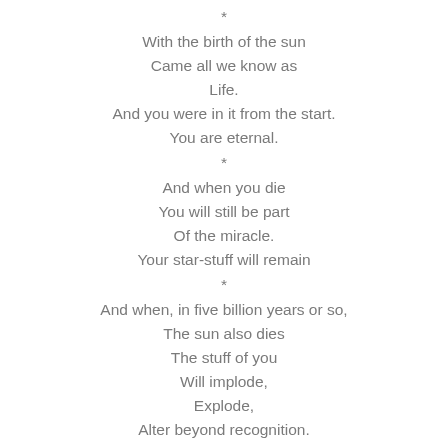*
With the birth of the sun
Came all we know as
Life.
And you were in it from the start.
You are eternal.
*
And when you die
You will still be part
Of the miracle.
Your star-stuff will remain
*
And when, in five billion years or so,
The sun also dies
The stuff of you
Will implode,
Explode,
Alter beyond recognition.
*
But it will be there,
Ready for the next stage.
*